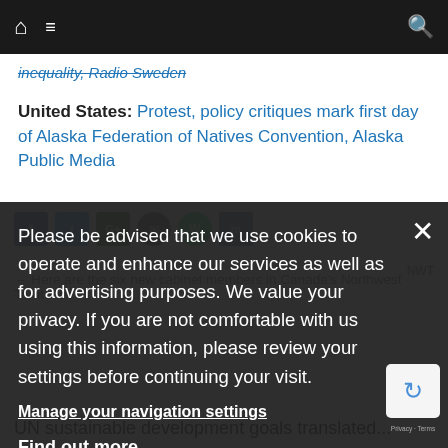Navigation bar with home, menu, and search icons
inequality, Radio Sweden
United States: Protest, policy critiques mark first day of Alaska Federation of Natives Convention, Alaska Public Media
Please be advised that we use cookies to operate and enhance our services as well as for advertising purposes. We value your privacy. If you are not comfortable with us using this information, please review your settings before continuing your visit.
Manage your navigation settings
Find out more
← Here are the six new cabinet members in Canada's Northwest Territories
UN sustainable development goals translated...